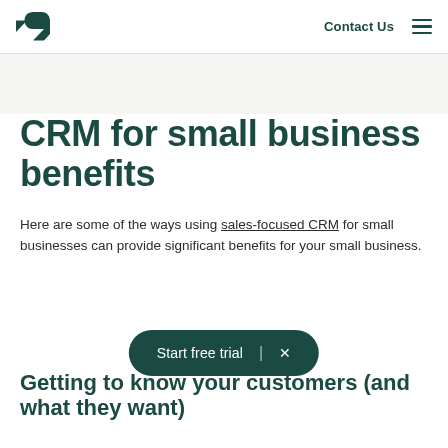Zendesk logo | Contact Us | Menu
CRM for small business benefits
Here are some of the ways using sales-focused CRM for small businesses can provide significant benefits for your small business.
[Figure (other): Start free trial CTA button with close icon]
Getting to know your customers (and what they want)